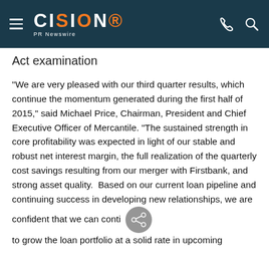CISION PR Newswire
Act examination
"We are very pleased with our third quarter results, which continue the momentum generated during the first half of 2015," said Michael Price, Chairman, President and Chief Executive Officer of Mercantile. "The sustained strength in core profitability was expected in light of our stable and robust net interest margin, the full realization of the quarterly cost savings resulting from our merger with Firstbank, and strong asset quality.  Based on our current loan pipeline and continuing success in developing new relationships, we are confident that we can conti to grow the loan portfolio at a solid rate in upcoming